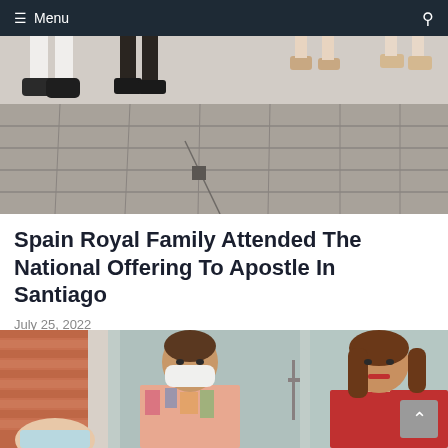≡ Menu
[Figure (photo): Close-up photo of people's feet and legs walking on stone pavement/cobblestones outdoors]
Spain Royal Family Attended The National Offering To Apostle In Santiago
July 25, 2022
[Figure (photo): Two women outdoors, one wearing a white face mask and colorful dress, another with brown hair wearing a red outfit, in front of a building with brick wall and glass doors]